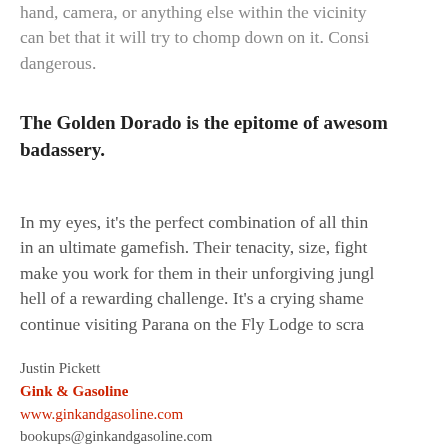hand, camera, or anything else within the vicinity can bet that it will try to chomp down on it. Consi dangerous.
The Golden Dorado is the epitome of awesome badassery.
In my eyes, it's the perfect combination of all thin in an ultimate gamefish. Their tenacity, size, fight make you work for them in their unforgiving jungl hell of a rewarding challenge. It's a crying shame continue visiting Parana on the Fly Lodge to scra
Justin Pickett
Gink & Gasoline
www.ginkandgasoline.com
bookups@ginkandgasoline.com